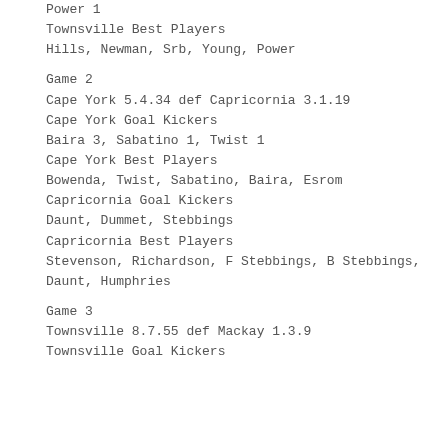Power 1
Townsville Best Players
Hills, Newman, Srb, Young, Power
Game 2
Cape York 5.4.34 def Capricornia 3.1.19
Cape York Goal Kickers
Baira 3, Sabatino 1, Twist 1
Cape York Best Players
Bowenda, Twist, Sabatino, Baira, Esrom
Capricornia Goal Kickers
Daunt, Dummet, Stebbings
Capricornia Best Players
Stevenson, Richardson, F Stebbings, B Stebbings, Daunt, Humphries
Game 3
Townsville 8.7.55 def Mackay 1.3.9
Townsville Goal Kickers